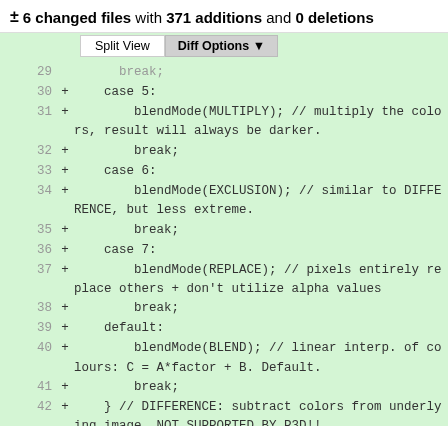± 6 changed files with 371 additions and 0 deletions
[Figure (screenshot): Code diff view showing lines 30-42 of a file with added lines (blendMode switch cases) highlighted in green, with Split View and Diff Options toolbar buttons.]